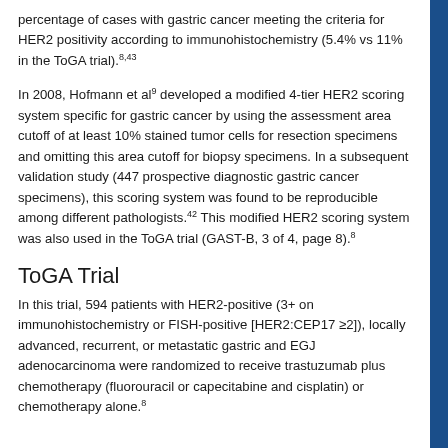percentage of cases with gastric cancer meeting the criteria for HER2 positivity according to immunohistochemistry (5.4% vs 11% in the ToGA trial).8,43
In 2008, Hofmann et al9 developed a modified 4-tier HER2 scoring system specific for gastric cancer by using the assessment area cutoff of at least 10% stained tumor cells for resection specimens and omitting this area cutoff for biopsy specimens. In a subsequent validation study (447 prospective diagnostic gastric cancer specimens), this scoring system was found to be reproducible among different pathologists.42 This modified HER2 scoring system was also used in the ToGA trial (GAST-B, 3 of 4, page 8).8
ToGA Trial
In this trial, 594 patients with HER2-positive (3+ on immunohistochemistry or FISH-positive [HER2:CEP17 ≥2]), locally advanced, recurrent, or metastatic gastric and EGJ adenocarcinoma were randomized to receive trastuzumab plus chemotherapy (fluorouracil or capecitabine and cisplatin) or chemotherapy alone.8